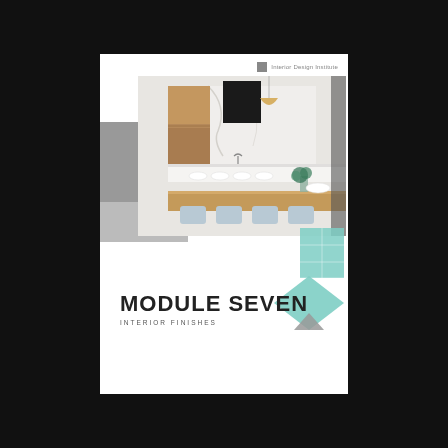Interior Design Institute
[Figure (photo): Modern kitchen interior with marble backsplash, wooden cabinets, black range hood, pendant light, white island with bar stools, dining table with blue chairs and flower arrangement]
MODULE SEVEN
INTERIOR FINISHES